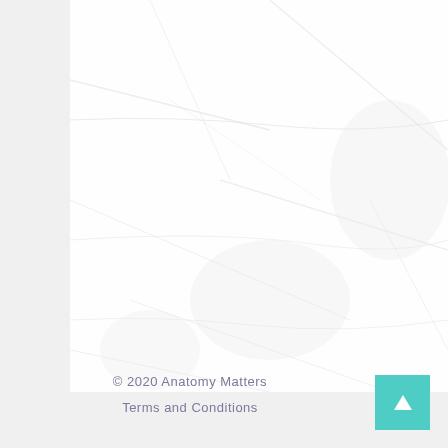[Figure (photo): Crumpled white paper texture filling most of the upper portion of the page]
© 2020 Anatomy Matters
Terms and Conditions